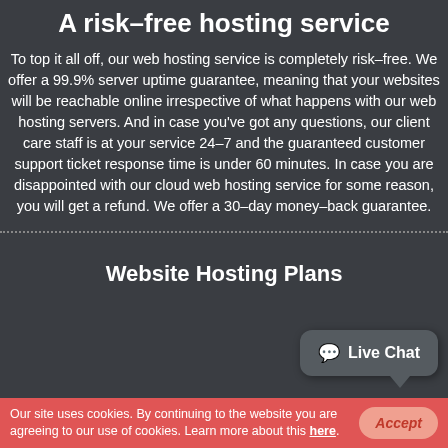A risk–free hosting service
To top it all off, our web hosting service is completely risk–free. We offer a 99.9% server uptime guarantee, meaning that your websites will be reachable online irrespective of what happens with our web hosting servers. And in case you've got any questions, our client care staff is at your service 24–7 and the guaranteed customer support ticket response time is under 60 minutes. In case you are disappointed with our cloud web hosting service for some reason, you will get a refund. We offer a 30–day money–back guarantee.
Website Hosting Plans
Our site uses cookies. By continuing to the website you are agreeing to our use of cookies. Learn more about this here.